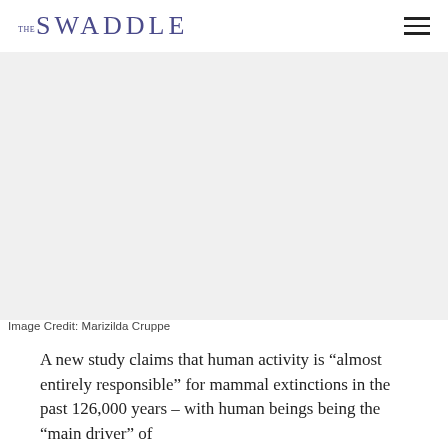THE SWADDLE
[Figure (photo): Large image placeholder (white/light grey area) — article header image credited to Marizilda Cruppe]
Image Credit: Marizilda Cruppe
A new study claims that human activity is “almost entirely responsible” for mammal extinctions in the past 126,000 years – with human beings being the “main driver” of